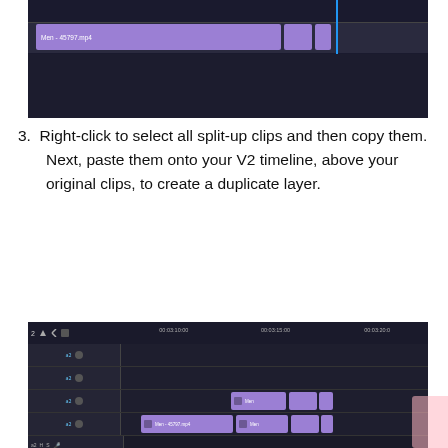[Figure (screenshot): Video editing timeline showing a purple clip labeled 'Men - 45797.mp4' with two smaller split clips and a blue playhead marker on a dark background.]
3. Right-click to select all split-up clips and then copy them. Next, paste them onto your V2 timeline, above your original clips, to create a duplicate layer.
[Figure (screenshot): Video editing timeline (V2) showing multiple track rows with purple clips labeled 'Men' and 'Men - 45797.mp4', timecodes 00:03:10:00, 00:03:15:00, 00:03:20:00, a yellow progress bar, audio tracks with H, S controls and microphone icons, and a timecode display at the bottom.]
4. Select one of the duplicated clips to go to the ControlsSet Opacity to 50%. Next, in